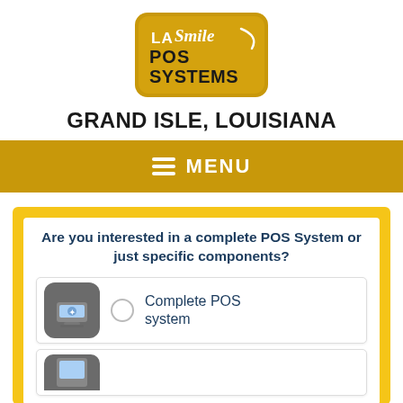[Figure (logo): LA Smile POS Systems logo - gold rounded rectangle badge with 'LA Smile' text and 'POS SYSTEMS' in bold white text]
GRAND ISLE, LOUISIANA
MENU
Are you interested in a complete POS System or just specific components?
Complete POS system
(partial second option)